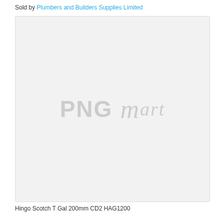Sold by Plumbers and Builders Supplies Limited
[Figure (photo): Product image placeholder with PNGMart watermark on a light grey background]
Hingo Scotch T Gal 200mm CD2 HAG1200